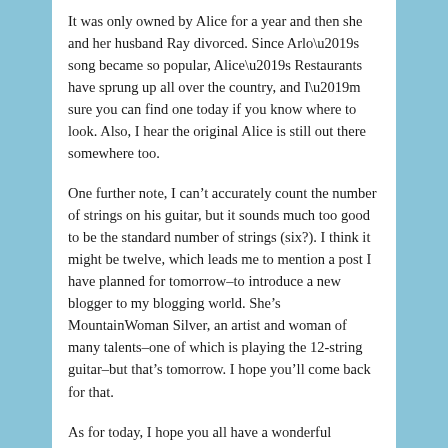It was only owned by Alice for a year and then she and her husband Ray divorced. Since Arlo’s song became so popular, Alice’s Restaurants have sprung up all over the country, and I’m sure you can find one today if you know where to look. Also, I hear the original Alice is still out there somewhere too.
One further note, I can’t accurately count the number of strings on his guitar, but it sounds much too good to be the standard number of strings (six?). I think it might be twelve, which leads me to mention a post I have planned for tomorrow–to introduce a new blogger to my blogging world. She’s MountainWoman Silver, an artist and woman of many talents–one of which is playing the 12-string guitar–but that’s tomorrow. I hope you’ll come back for that.
As for today, I hope you all have a wonderful holiday, because if you’re able to or just plain have time to read this, then that means you have access to a PC so that means you have a lot to be thankful for. Happy